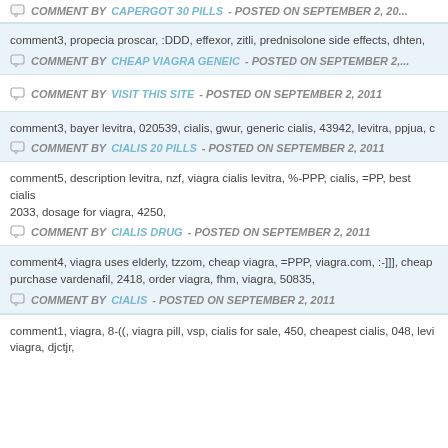COMMENT BY CAPERGOT 30 PILLS - POSTED ON SEPTEMBER 2, 20...
comment3, propecia proscar, :DDD, effexor, zitli, prednisolone side effects, dhten,
COMMENT BY CHEAP VIAGRA GENEIC - POSTED ON SEPTEMBER 2,...
COMMENT BY VISIT THIS SITE - POSTED ON SEPTEMBER 2, 2011
comment3, bayer levitra, 020539, cialis, gwur, generic cialis, 43942, levitra, ppjua, c
COMMENT BY CIALIS 20 PILLS - POSTED ON SEPTEMBER 2, 2011
comment5, description levitra, nzf, viagra cialis levitra, %-PPP, cialis, =PP, best cialis... 2033, dosage for viagra, 4250,
COMMENT BY CIALIS DRUG - POSTED ON SEPTEMBER 2, 2011
comment4, viagra uses elderly, tzzom, cheap viagra, =PPP, viagra.com, :-]]], cheap... purchase vardenafil, 2418, order viagra, fhm, viagra, 50835,
COMMENT BY CIALIS - POSTED ON SEPTEMBER 2, 2011
comment1, viagra, 8-((, viagra pill, vsp, cialis for sale, 450, cheapest cialis, 048, levi... viagra, djctjr,